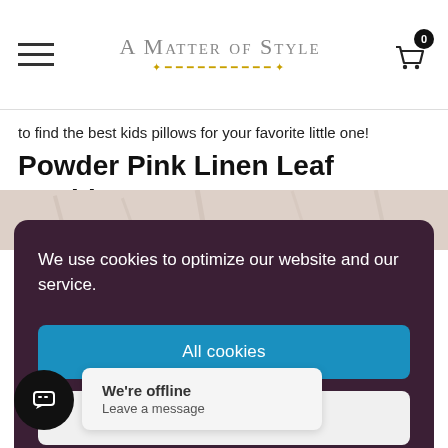A Matter of Style
to find the best kids pillows for your favorite little one!
Powder Pink Linen Leaf Cushion
[Figure (photo): Partial product photo of a pink linen cushion, partially obscured by cookie consent overlay]
We use cookies to optimize our website and our service.
All cookies
Deny
View preferences
Cookie Policy
We're offline
Leave a message